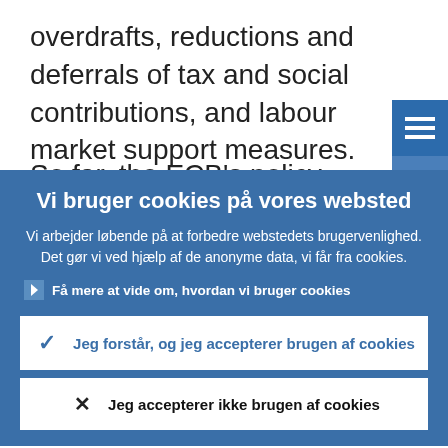overdrafts, reductions and deferrals of tax and social contributions, and labour market support measures.
So far, the ECB's policy measures and the
[Figure (screenshot): Menu button (hamburger icon) in dark blue]
[Figure (screenshot): Share button icon in medium blue]
Vi bruger cookies på vores websted
Vi arbejder løbende på at forbedre webstedets brugervenlighed. Det gør vi ved hjælp af de anonyme data, vi får fra cookies.
Få mere at vide om, hvordan vi bruger cookies
Jeg forstår, og jeg accepterer brugen af cookies
Jeg accepterer ikke brugen af cookies